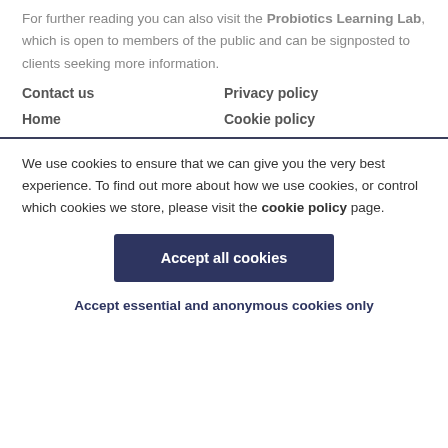For further reading you can also visit the Probiotics Learning Lab, which is open to members of the public and can be signposted to clients seeking more information.
Contact us
Privacy policy
Home
Cookie policy
We use cookies to ensure that we can give you the very best experience. To find out more about how we use cookies, or control which cookies we store, please visit the cookie policy page.
Accept all cookies
Accept essential and anonymous cookies only